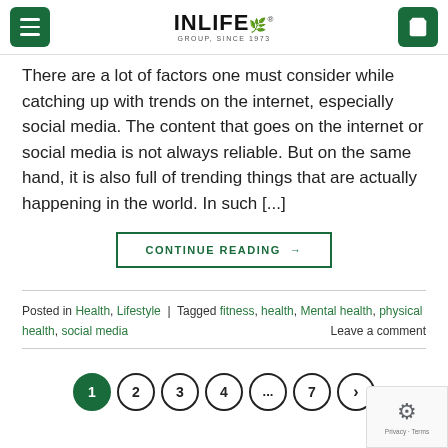INLIFE GROUP, SINCE 1973
There are a lot of factors one must consider while catching up with trends on the internet, especially social media. The content that goes on the internet or social media is not always reliable. But on the same hand, it is also full of trending things that are actually happening in the world. In such [...]
CONTINUE READING →
Posted in Health, Lifestyle | Tagged fitness, health, Mental health, physical health, social media  Leave a comment
1 2 3 4 ... 7 >